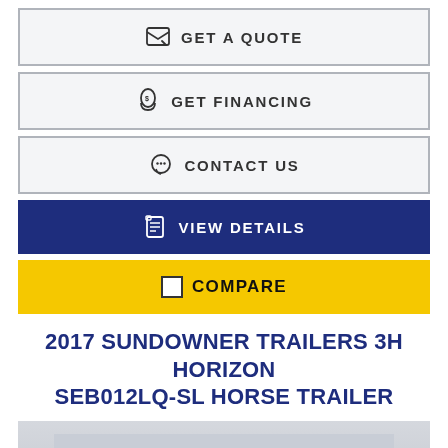GET A QUOTE
GET FINANCING
CONTACT US
VIEW DETAILS
COMPARE
2017 SUNDOWNER TRAILERS 3H HORIZON SEB012LQ-SL HORSE TRAILER
[Figure (photo): Photo of a white Sundowner horse trailer (partial view), with a dark blue back-to-top arrow button and a blue 'Text us!' chat button overlaid.]